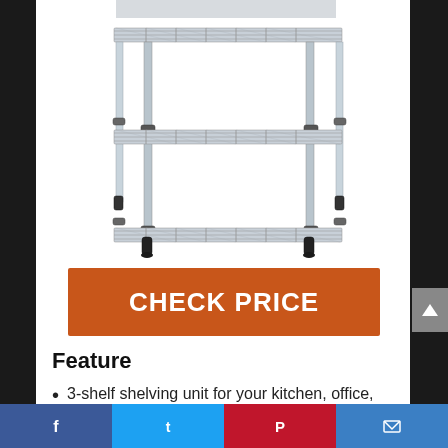[Figure (photo): Chrome wire 3-shelf shelving unit, showing two visible shelves with metal wire grid construction and adjustable legs with black rubber feet, on white background.]
CHECK PRICE
Feature
3-shelf shelving unit for your kitchen, office, garage, and more
Facebook | Twitter | Pinterest | Email